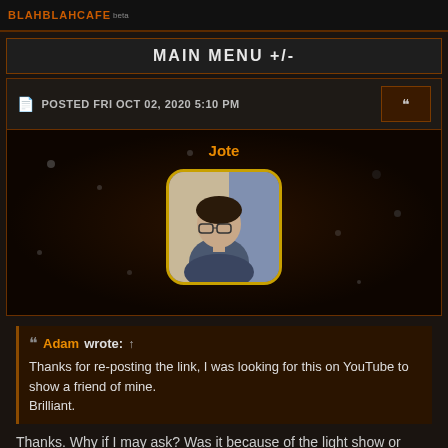BLAHBLAHCAFE beta
MAIN MENU +/-
POSTED FRI OCT 02, 2020 5:10 PM
[Figure (photo): User profile section with username 'Jote' in orange, dark space-themed background with decorative dots, and a profile photo of a young person wearing glasses in a rounded square frame with gold border]
Adam wrote: ↑
Thanks for re-posting the link, I was looking for this on YouTube to show a friend of mine.
Brilliant.
Thanks. Why if I may ask? Was it because of the light show or Ethnicolor?